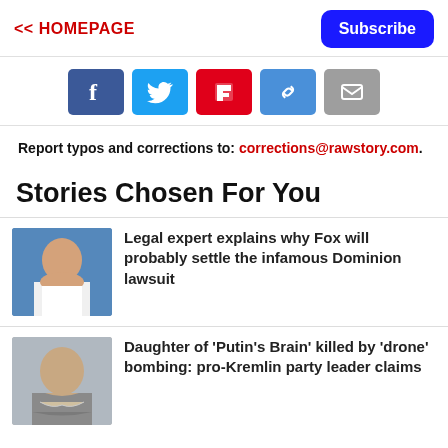<< HOMEPAGE
[Figure (screenshot): Social share buttons: Facebook, Twitter, Flipboard, Copy link, Email]
Report typos and corrections to: corrections@rawstory.com.
Stories Chosen For You
[Figure (photo): Thumbnail photo of a woman in white waving on stage]
Legal expert explains why Fox will probably settle the infamous Dominion lawsuit
[Figure (photo): Thumbnail photo of an older bearded man]
Daughter of 'Putin's Brain' killed by 'drone' bombing: pro-Kremlin party leader claims